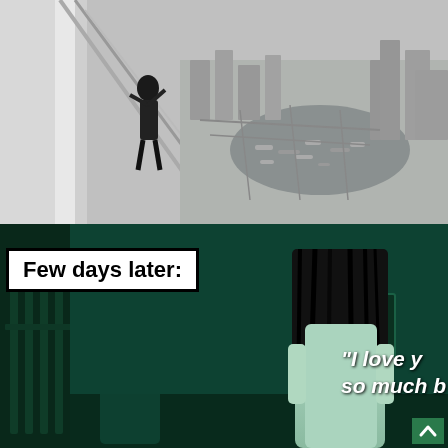[Figure (photo): Woman dangling from the edge of a very tall skyscraper with aerial city and marina view far below, black and white tones]
[Figure (photo): Dark teal-tinted horror scene showing a long-haired ghost figure in white standing in a room with a man, from a horror movie (The Ring); text overlay reads 'Few days later:' in a white box, and partially visible quote 'I love you so much b']
Few days later:
"I love you so much b